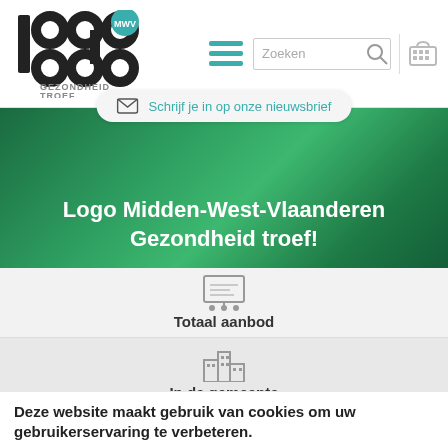[Figure (logo): Logo MWV - Gezondheid Troef wordmark with circular letter shapes]
[Figure (screenshot): Navigation bar with hamburger menu, search box, and cart icon]
[Figure (screenshot): Newsletter subscribe bubble with envelope icon]
Logo Midden-West-Vlaanderen Gezondheid troef!
[Figure (illustration): Totaal aanbod icon - presentation screen with audience]
Totaal aanbod
[Figure (illustration): In de gemeente icon - buildings/city]
In de gemeente
[Figure (illustration): Presentation with person icon]
Deze website maakt gebruik van cookies om uw gebruikerservaring te verbeteren.